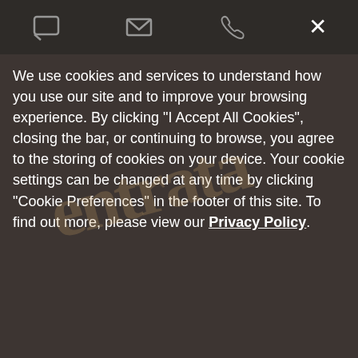[Figure (screenshot): Top navigation bar with dark brown background showing chat icon, email icon, phone icon, and X close button]
We use cookies and services to understand how you use our site and to improve your browsing experience. By clicking "I Accept All Cookies", closing the bar, or continuing to browse, you agree to the storing of cookies on your device. Your cookie settings can be changed at any time by clicking "Cookie Preferences" in the footer of this site. To find out more, please view our Privacy Policy
Cookie Preferences
I Accept All Cookies
Entrata Text Message System
Quick Help